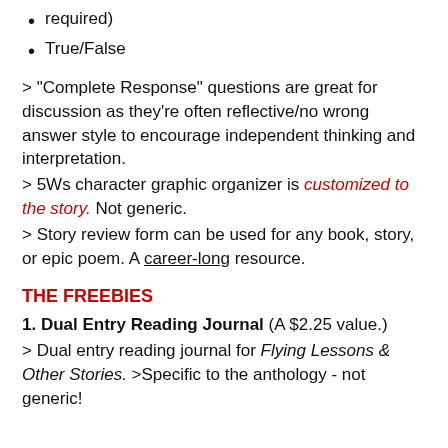required)
True/False
> "Complete Response" questions are great for discussion as they're often reflective/no wrong answer style to encourage independent thinking and interpretation.
> 5Ws character graphic organizer is customized to the story. Not generic.
> Story review form can be used for any book, story, or epic poem. A career-long resource.
THE FREEBIES
1. Dual Entry Reading Journal (A $2.25 value.)
> Dual entry reading journal for Flying Lessons & Other Stories. >Specific to the anthology - not generic!